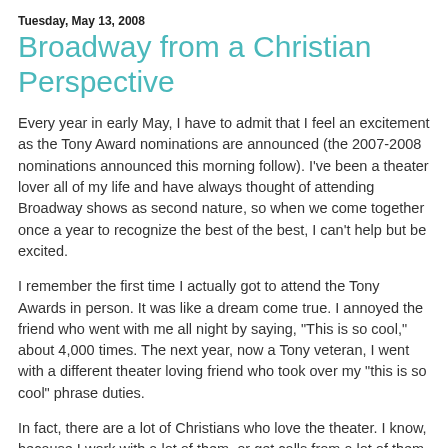Tuesday, May 13, 2008
Broadway from a Christian Perspective
Every year in early May, I have to admit that I feel an excitement as the Tony Award nominations are announced (the 2007-2008 nominations announced this morning follow). I've been a theater lover all of my life and have always thought of attending Broadway shows as second nature, so when we come together once a year to recognize the best of the best, I can't help but be excited.
I remember the first time I actually got to attend the Tony Awards in person. It was like a dream come true. I annoyed the friend who went with me all night by saying, "This is so cool," about 4,000 times. The next year, now a Tony veteran, I went with a different theater loving friend who took over my "this is so cool" phrase duties.
In fact, there are a lot of Christians who love the theater. I know, because I work with a lot of them, or get calls from a lot of them asking my advice on what shows to see or produce. After some prodding from the Lord, I've decided to